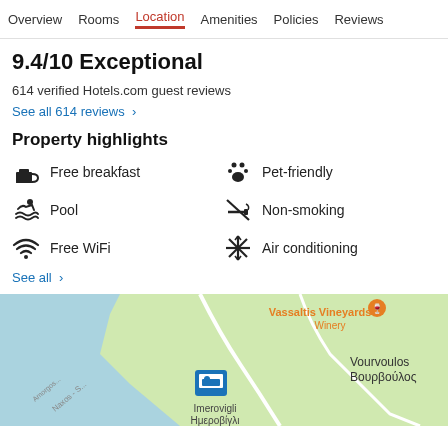Overview | Rooms | Location | Amenities | Policies | Reviews
9.4/10 Exceptional
614 verified Hotels.com guest reviews
See all 614 reviews >
Property highlights
Free breakfast
Pet-friendly
Pool
Non-smoking
Free WiFi
Air conditioning
See all >
[Figure (map): Google map showing location near Imerovigli and Vourvoulos on Santorini, with hotel pin marker and Vassaltis Vineyards Winery label]